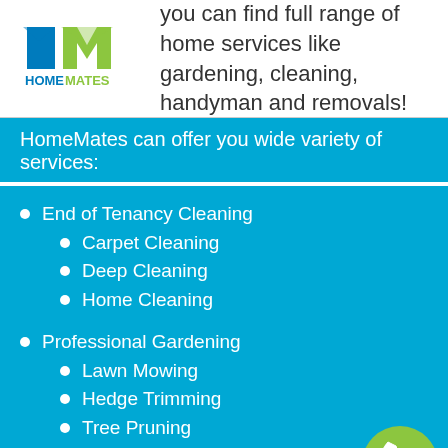[Figure (logo): HomeMates logo — HM letters in blue/green with HOMEMATES text below]
you can find full range of home services like gardening, cleaning, handyman and removals!
HomeMates can offer you wide variety of services:
End of Tenancy Cleaning
Carpet Cleaning
Deep Cleaning
Home Cleaning
Professional Gardening
Lawn Mowing
Hedge Trimming
Tree Pruning
Removal Services
Home Moving
Office Moving
Man and Van
[Figure (illustration): Green circular phone/chat badge in bottom right corner]